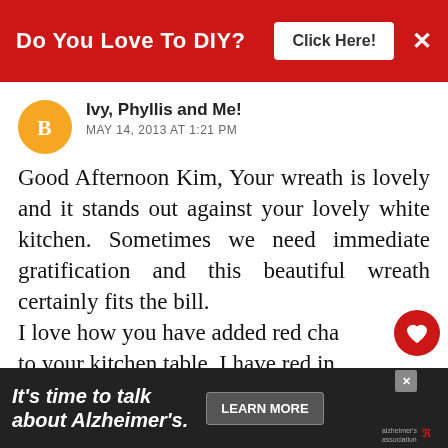Do You Love To DIY? | Click Here! | ✕
Ivy, Phyllis and Me!
MAY 14, 2013 AT 1:21 PM
Good Afternoon Kim, Your wreath is lovely and it stands out against your lovely white kitchen. Sometimes we need immediate gratification and this beautiful wreath certainly fits the bill.
I love how you have added red cha[irs] to your kitchen table. I have red in my kitchen and it always [makes me] happy.
Kim, I have enjoyed my visit to your [blog and will be back in a few]
[Figure (screenshot): What's Next thumbnail — Patriotic Ribbon Wreath]
It's time to talk about Alzheimer's. | LEARN MORE | alzheimer's association